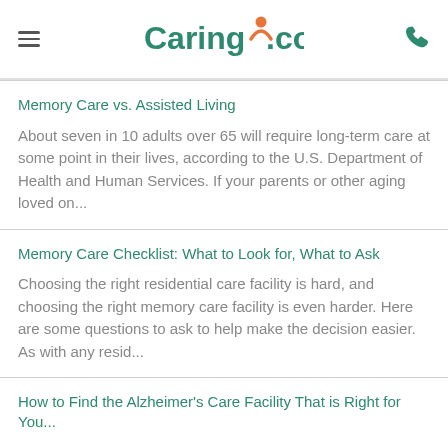Caring.com
Memory Care vs. Assisted Living
About seven in 10 adults over 65 will require long-term care at some point in their lives, according to the U.S. Department of Health and Human Services. If your parents or other aging loved on...
Memory Care Checklist: What to Look for, What to Ask
Choosing the right residential care facility is hard, and choosing the right memory care facility is even harder. Here are some questions to ask to help make the decision easier. As with any resid...
How to Find the Alzheimer's Care Facility That is Right for You...